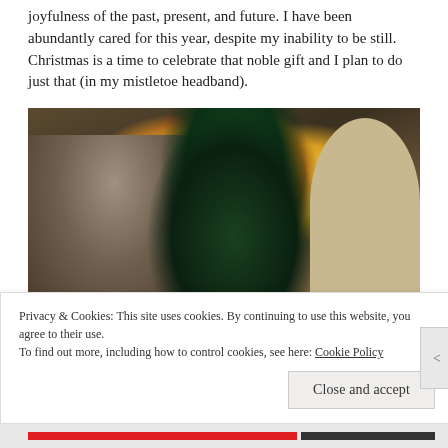joyfulness of the past, present, and future. I have been abundantly cared for this year, despite my inability to be still. Christmas is a time to celebrate that noble gift and I plan to do just that (in my mistletoe headband).
[Figure (photo): A person seen from behind decorating a Christmas tree with colorful ornaments and lights. A dog is visible near the lower right. An arched doorway is visible on the right side of the image.]
Privacy & Cookies: This site uses cookies. By continuing to use this website, you agree to their use.
To find out more, including how to control cookies, see here: Cookie Policy